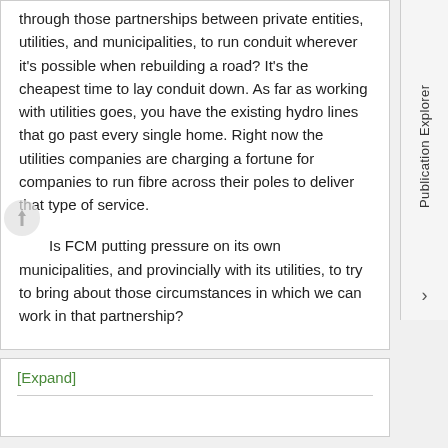through those partnerships between private entities, utilities, and municipalities, to run conduit wherever it's possible when rebuilding a road? It's the cheapest time to lay conduit down. As far as working with utilities goes, you have the existing hydro lines that go past every single home. Right now the utilities companies are charging a fortune for companies to run fibre across their poles to deliver that type of service.
Is FCM putting pressure on its own municipalities, and provincially with its utilities, to try to bring about those circumstances in which we can work in that partnership?
[Expand]